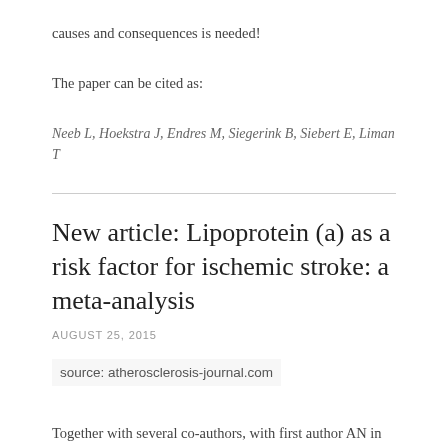causes and consequences is needed!
The paper can be cited as:
Neeb L, Hoekstra J, Endres M, Siegerink B, Siebert E, Liman T
New article: Lipoprotein (a) as a risk factor for ischemic stroke: a meta-analysis
AUGUST 25, 2015
source: atherosclerosis-journal.com
Together with several co-authors, with first author AN in